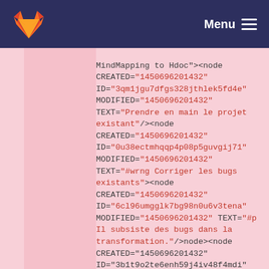GitLab — Menu
MindMapping to Hdoc"><node CREATED="1450696201432" ID="3qm1jgu7dfgs328jthlek5fd4e" MODIFIED="1450696201432" TEXT="Prendre en main le projet existant"/><node CREATED="1450696201432" ID="0u38ectmhqqp4p08p5guvgij71" MODIFIED="1450696201432" TEXT="#wrng Corriger les bugs existants"><node CREATED="1450696201432" ID="6cl96umgglk7bg98n0u6v3tena" MODIFIED="1450696201432" TEXT="#p Il subsiste des bugs dans la transformation."/></node><node CREATED="1450696201432" ID="3b1t9o2te6enh59j4iv48f4mdi" MODIFIED="1450696201432" TEXT="Restructurer le ant"/></node>